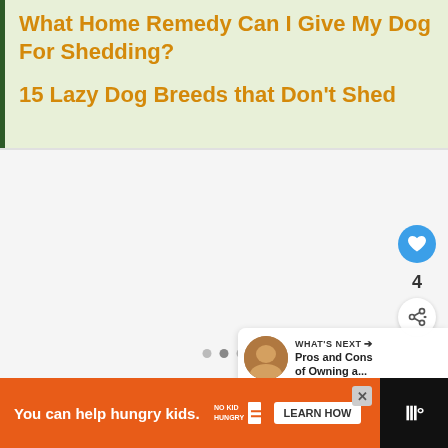What Home Remedy Can I Give My Dog For Shedding?
15 Lazy Dog Breeds that Don't Shed
[Figure (screenshot): Gray content area with social interaction buttons (heart/like and share), navigation dots, and a 'What's Next' article preview panel showing 'Pros and Cons of Owning a...']
WHAT'S NEXT → Pros and Cons of Owning a...
You can help hungry kids. NO KID HUNGRY LEARN HOW